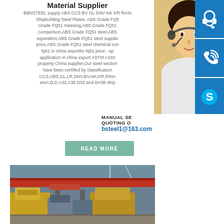Material Supplier
BBNSTEEL supply ABS CCS BV GL DNV NK KR RINA Shipbuilding Steel Plates. ABS Grade FQ51 Grade FQ51 meaning,ABS Grade FQ51 comparison,ABS Grade FQ51 steel,ABS equivalent,ABS Grade FQ51 steel supplier price,ABS Grade FQ51 steel chemical composition fq51 in china exportbv fq51 price - specification application in china export ASTM A240 property China supplier,Our steel section have been certified by classification societies CCS,ABS,GL,LR,DNV,BV,NK,KR,RINA steel product areA,B,D,A32,A36 D32 and DH36 shipbuilding steel
[Figure (photo): Customer service representative woman with headset, blue contact icons (headset, phone, Skype) on right side panel]
MANUAL SERVICE
QUOTING ON
bsteel1@163.com
READ MORE
[Figure (photo): Industrial factory floor with overhead crane and machinery]